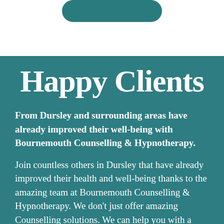[Figure (other): Partial rounded rectangle button shape in teal color at top of page, white background section]
Happy Clients
From Dursley and surrounding areas have already improved their well-being with Bournemouth Counselling & Hypnotherapy.
Join countless others in Dursley that have already improved their health and well-being thanks to the amazing team at Bournemouth Counselling & Hypnotherapy. We don't just offer amazing Counselling solutions. We can help you with a wide